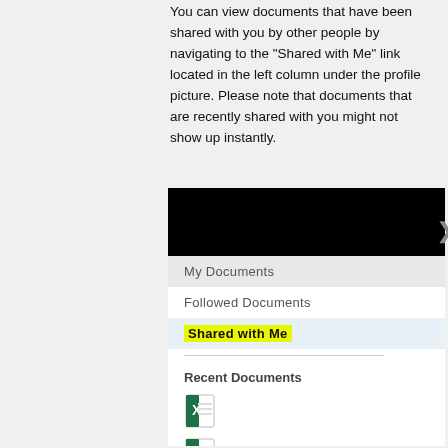You can view documents that have been shared with you by other people by navigating to the "Shared with Me" link located in the left column under the profile picture. Please note that documents that are recently shared with you might not show up instantly.
[Figure (screenshot): Screenshot of a document management interface showing a left navigation panel with: a black header bar, menu items including 'My Documents' (gray background), 'Followed Documents', 'Shared with Me' (highlighted in yellow, on light blue background), a divider, 'Recent Documents' section header, and two Excel file icons below.]